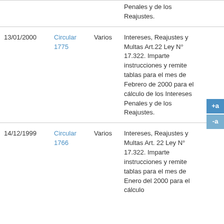| Fecha | Circular | Destinatario | Descripción |  |
| --- | --- | --- | --- | --- |
|  |  |  | Penales y de los Reajustes. |  |
| 13/01/2000 | Circular 1775 | Varios | Intereses, Reajustes y Multas Art.22 Ley N° 17.322. Imparte instrucciones y remite tablas para el mes de Febrero de 2000 para el cálculo de los Intereses Penales y de los Reajustes. |  |
| 14/12/1999 | Circular 1766 | Varios | Intereses, Reajustes y Multas Art. 22 Ley N° 17.322. Imparte instrucciones y remite tablas para el mes de Enero del 2000 para el cálculo |  |